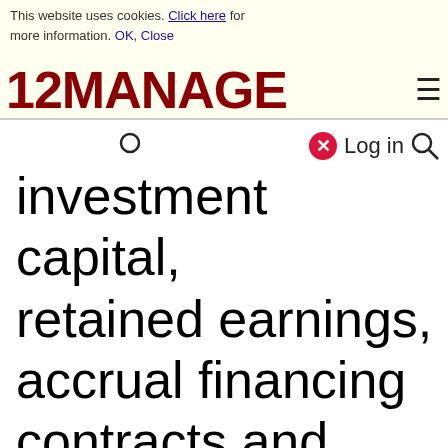This website uses cookies. Click here for more information. OK, Close
[Figure (logo): 12MANAGE logo in dark red bold text with hamburger menu icon]
investment capital, retained earnings, accrual financing contracts and forward payment agreements on